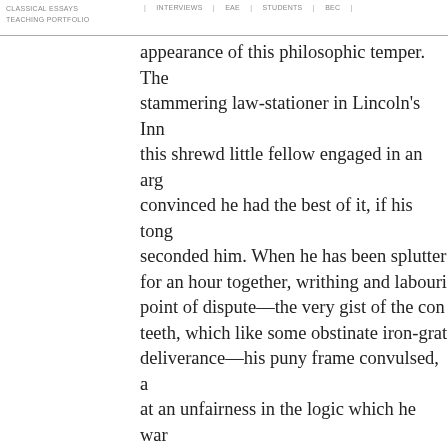CLASSICAL ESSAYS | INTERVIEWS | EAE | STUDENTS | BEC | TEACHING PORTFOLIO
appearance of this philosophic temper. The stammering law-stationer in Lincoln's Inn, this shrewd little fellow engaged in an argument, convinced he had the best of it, if his tongue seconded him. When he has been sputtering for an hour together, writhing and labouring the point of dispute—the very gist of the controversy stuck in his teeth, which like some obstinate iron-grating resisted deliverance—his puny frame convulsed, and indignant at an unfairness in the logic which he was exposing, it has moved our gall to see a smooth ported fellow that cared not a button for the merits of the question, laying his hand upon the head of the stationer with calm (your tall disputants have always the advantage) provoking sneer carry the argument clean off from all the bystanders, who have gone away convinced that Titubus must have been in the wrong, because he stuttered; and that Mr.——, meaning his opponent, the assertion was of the most discouraging